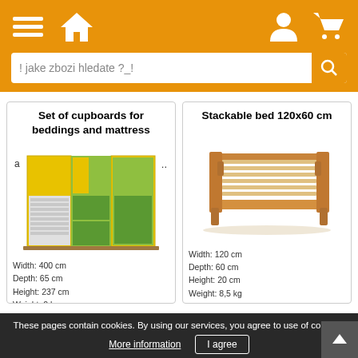Navigation header with hamburger menu, home icon, user icon, cart icon, and search bar with placeholder '! jake zbozi hledate ?_!'
Set of cupboards for beddings and mattress
a
..
Width: 400 cm
Depth: 65 cm
Height: 237 cm
Weight: 0 kg
View detail
[Figure (photo): Yellow and green set of cupboards open showing beddings inside]
Stackable bed 120x60 cm
Width: 120 cm
Depth: 60 cm
Height: 20 cm
Weight: 8,5 kg
[Figure (photo): Wooden stackable bed frame 120x60 cm]
These pages contain cookies. By using our services, you agree to use of cookies. More information   I agree